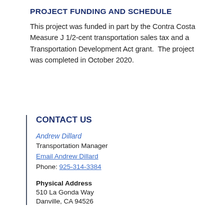PROJECT FUNDING AND SCHEDULE
This project was funded in part by the Contra Costa Measure J 1/2-cent transportation sales tax and a Transportation Development Act grant.  The project was completed in October 2020.
CONTACT US
Andrew Dillard
Transportation Manager
Email Andrew Dillard
Phone: 925-314-3384
Physical Address
510 La Gonda Way
Danville, CA 94526